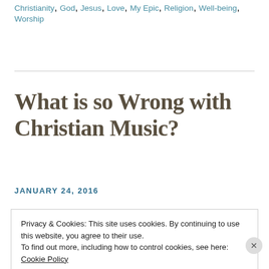Christianity, God, Jesus, Love, My Epic, Religion, Well-being, Worship
What is so Wrong with Christian Music?
JANUARY 24, 2016
Privacy & Cookies: This site uses cookies. By continuing to use this website, you agree to their use.
To find out more, including how to control cookies, see here: Cookie Policy
Close and accept